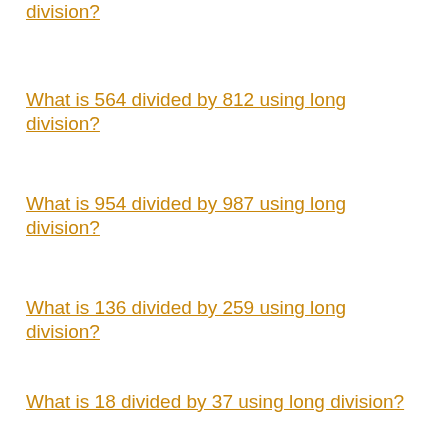division?
What is 564 divided by 812 using long division?
What is 954 divided by 987 using long division?
What is 136 divided by 259 using long division?
What is 18 divided by 37 using long division?
What is 656 divided by 920 using long division?